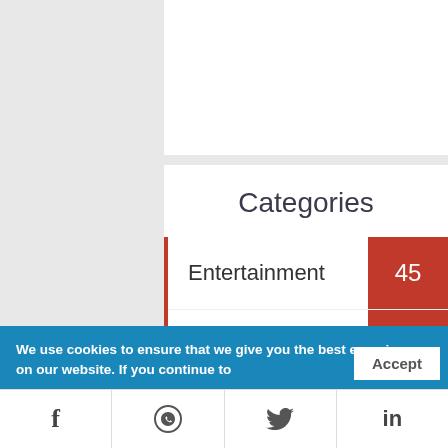Categories
Entertainment 45
Movies 6
Television 11
Gadgets 10
Gandhi 1
Life Stule 61
We use cookies to ensure that we give you the best experience on our website. If you continue to
Accept